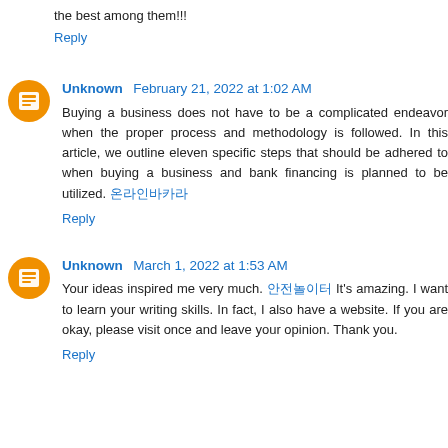the best among them!!!
Reply
Unknown  February 21, 2022 at 1:02 AM
Buying a business does not have to be a complicated endeavor when the proper process and methodology is followed. In this article, we outline eleven specific steps that should be adhered to when buying a business and bank financing is planned to be utilized. 온라인바카라
Reply
Unknown  March 1, 2022 at 1:53 AM
Your ideas inspired me very much. 안전놀이터 It's amazing. I want to learn your writing skills. In fact, I also have a website. If you are okay, please visit once and leave your opinion. Thank you.
Reply